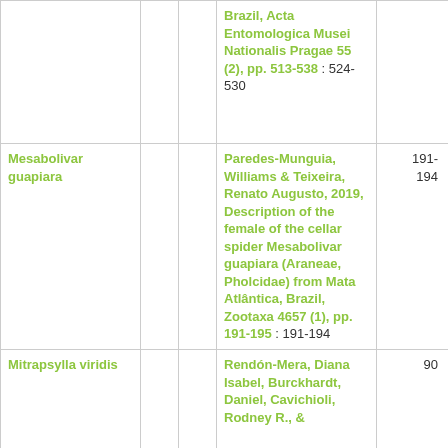| Taxon |  |  | Reference | Pages |
| --- | --- | --- | --- | --- |
|  |  |  | Brazil, Acta Entomologica Musei Nationalis Pragae 55 (2), pp. 513-538 : 524-530 |  |
| Mesabolivar guapiara |  |  | Paredes-Munguia, Williams & Teixeira, Renato Augusto, 2019, Description of the female of the cellar spider Mesabolivar guapiara (Araneae, Pholcidae) from Mata Atlântica, Brazil, Zootaxa 4657 (1), pp. 191-195 : 191-194 | 191-194 |
| Mitrapsylla viridis |  |  | Rendón-Mera, Diana Isabel, Burckhardt, Daniel, Cavichioli, Rodney R., & | 90 |